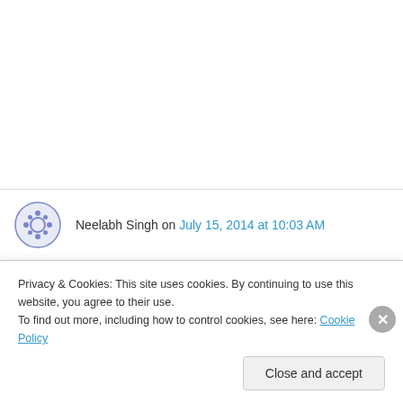Neelabh Singh on July 15, 2014 at 10:03 AM
I implemented the above my comments please check it,
public void put(String k, String v)
{
int hash=k.hashCode%SIZE;
Privacy & Cookies: This site uses cookies. By continuing to use this website, you agree to their use.
To find out more, including how to control cookies, see here: Cookie Policy
Close and accept